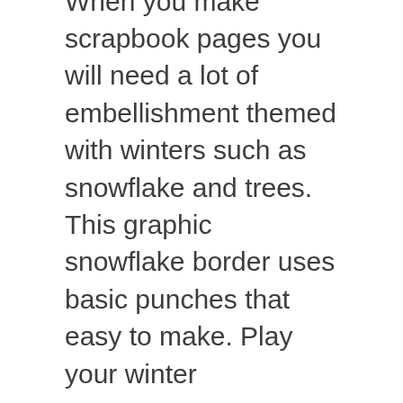When you make scrapbook pages you will need a lot of embellishment themed with winters such as snowflake and trees. This graphic snowflake border uses basic punches that easy to make. Play your winter...